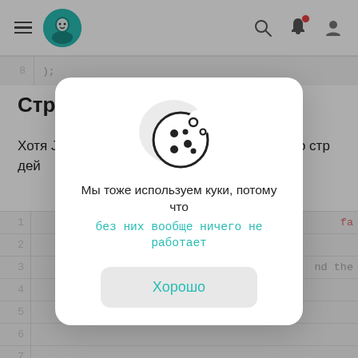brownDark: 0x23190f
Структура кода
Хотя JavaScript-код и бывает громоздким, его стр дей
[Figure (infographic): Cookie consent modal dialog with cookie icon, message 'Мы тоже используем куки, потому что без них вообще ничего не работает' and a button 'Хорошо']
Мы тоже используем куки, потому что
без них вообще ничего не работает
Хорошо
1
2
3
4
5
6
7
8  createLights();